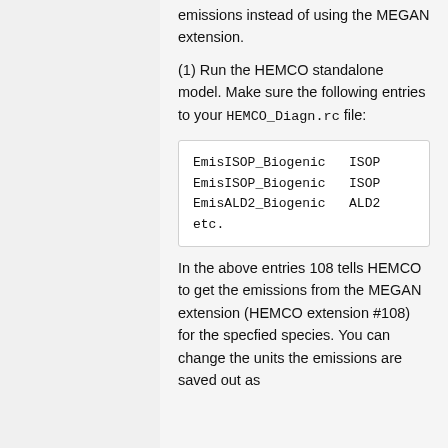emissions instead of using the MEGAN extension.
(1) Run the HEMCO standalone model. Make sure the following entries to your HEMCO_Diagn.rc file:
EmisISOP_Biogenic   ISOP
EmisISOP_Biogenic   ISOP
EmisALD2_Biogenic   ALD2
etc.
In the above entries 108 tells HEMCO to get the emissions from the MEGAN extension (HEMCO extension #108) for the specfied species. You can change the units the emissions are saved out as